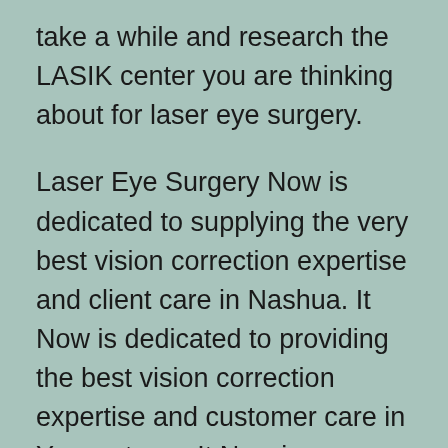take a while and research the LASIK center you are thinking about for laser eye surgery.
Laser Eye Surgery Now is dedicated to supplying the very best vision correction expertise and client care in Nashua. It Now is dedicated to providing the best vision correction expertise and customer care in Youngstown. It Now is dedicated to providing the best vision correction expertise and customer care in Baton Rouge. It Now is dedicated to providing the best vision correction expertise and customer care in Woodbury. It Now is dedicated to providing the